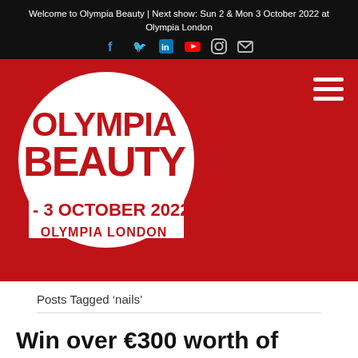Welcome to Olympia Beauty | Next show: Sun 2 & Mon 3 October 2022 at Olympia London
[Figure (logo): Olympia Beauty logo on red background circle with text: OLYMPIA BEAUTY, 2-3 October 2022, Olympia London]
Posts Tagged 'nails'
Win over €300 worth of Meraki Professional Goodies